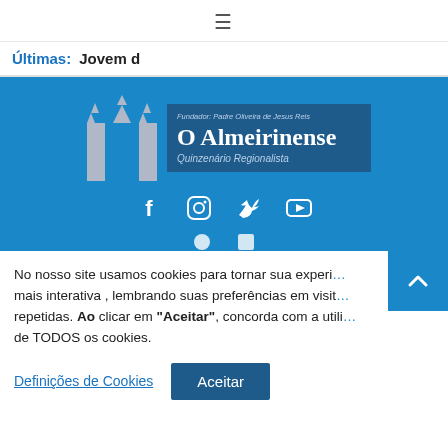≡
Últimas:  Jovem d
[Figure (logo): O Almeirinense newspaper logo on blue background with arch/building illustration, social media icons (Facebook, Instagram, Twitter, YouTube), and subtitle 'Quinzenário Regionalista'. Founded by Padre Oliveira de Jesus Reis.]
No nosso site usamos cookies para tornar sua experiência mais interativa , lembrando suas preferências em visitas repetidas. Ao clicar em "Aceitar", concorda com a utilização de TODOS os cookies.
Definições de Cookies
Aceitar